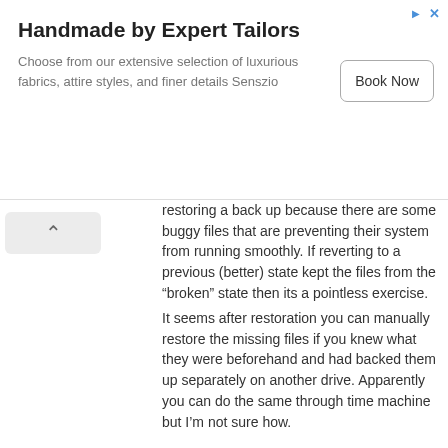[Figure (other): Advertisement banner: Handmade by Expert Tailors. Choose from our extensive selection of luxurious fabrics, attire styles, and finer details Senszio. Book Now button.]
restoring a back up because there are some buggy files that are preventing their system from running smoothly. If reverting to a previous (better) state kept the files from the “broken” state then its a pointless exercise.
It seems after restoration you can manually restore the missing files if you knew what they were beforehand and had backed them up separately on another drive. Apparently you can do the same through time machine but I’m not sure how.
anyone feel free to correct me on any errors in my explanation as I am not an expert but based on some research came to the above conclusion.
Reply
Pablo
December 23, 2013
EDIT: I believe to restore the files from